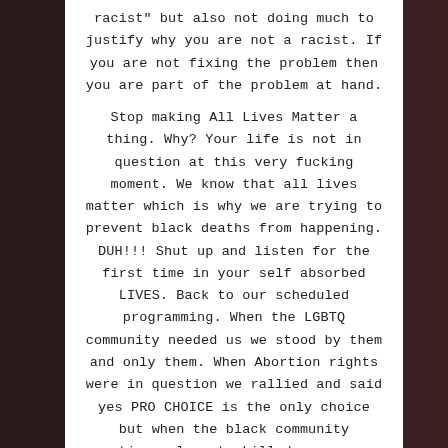racist" but also not doing much to justify why you are not a racist. If you are not fixing the problem then you are part of the problem at hand.

Stop making All Lives Matter a thing. Why? Your life is not in question at this very fucking moment. We know that all lives matter which is why we are trying to prevent black deaths from happening. DUH!!! Shut up and listen for the first time in your self absorbed LIVES. Back to our scheduled programming. When the LGBTQ community needed us we stood by them and only them. When Abortion rights were in question we rallied and said yes PRO CHOICE is the only choice but when the black community continuously gets killed on camera the protests turn into rage which then brings violence.